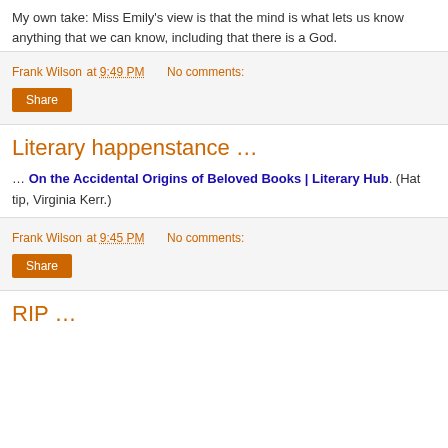My own take: Miss Emily's view is that the mind is what lets us know anything that we can know, including that there is a God.
Frank Wilson at 9:49 PM   No comments:
Share
Literary happenstance …
… On the Accidental Origins of Beloved Books | Literary Hub. (Hat tip, Virginia Kerr.)
Frank Wilson at 9:45 PM   No comments:
Share
RIP …